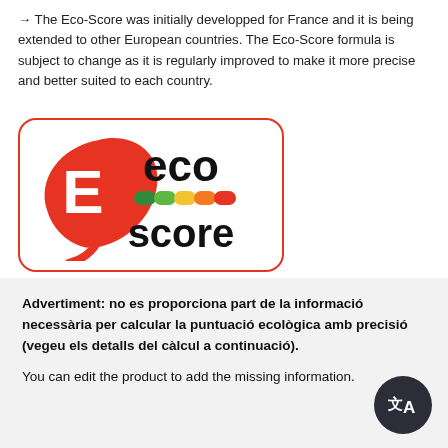→ The Eco-Score was initially developped for France and it is being extended to other European countries. The Eco-Score formula is subject to change as it is regularly improved to make it more precise and better suited to each country.
[Figure (logo): Eco-Score logo: red leaf with white 'E' letter, text 'eco score' in black, colored rating bar segments (green, yellow-green, yellow, orange, red)]
Advertiment: no es proporciona part de la informació necessària per calcular la puntuació ecològica amb precisió (vegeu els detalls del càlcul a continuació).

You can edit the product to add the missing information.